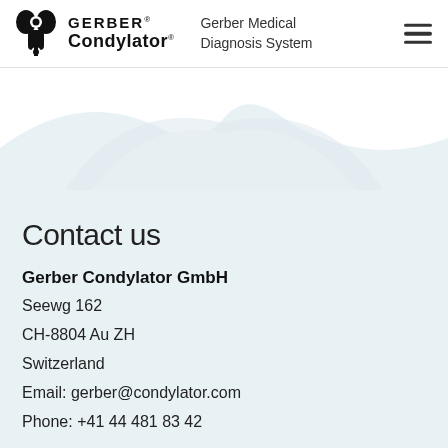GERBER® Condylator® Gerber Medical Diagnosis System
[Figure (illustration): Decorative wave/cloud shape in light gray on white background, representing a stylized header graphic for the Gerber Condylator website]
Contact us
Gerber Condylator GmbH
Seewg 162
CH-8804 Au ZH
Switzerland
Email: gerber@condylator.com
Phone: +41 44 481 83 42